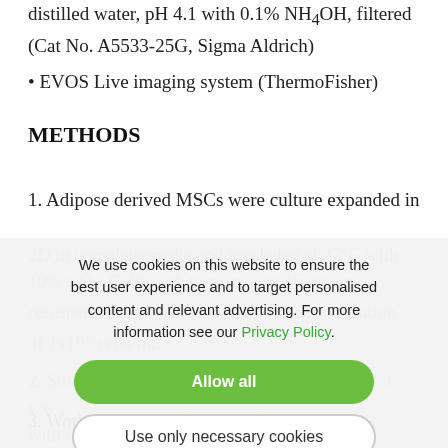distilled water, pH 4.1 with 0.1% NH4OH, filtered (Cat No. A5533-25G, Sigma Aldrich)
• EVOS Live imaging system (ThermoFisher)
METHODS
1. Adipose derived MSCs were culture expanded in 2D in complete media and incubated at 37°C with 10% CO2. Cells with trypsin, centrifugation, resuspend in complete medium to a concentration of 1x106 cells/ml.
We use cookies on this website to ensure the best user experience and to target personalised content and relevant advertising. For more information see our Privacy Policy.
Allow all
Use only necessary cookies
2. Stock GrowDex-T (1.0% w/v) was diluted, 1:1 v/v with culture media and then with media containing MSCs, to give a final working solution with a GrowDex-T concentration of 0.5% and 0.5×106 cells/ml.
3. Working example for 1 ml of final working solution, add 200 µl of GrowDex-T to 750 µl of